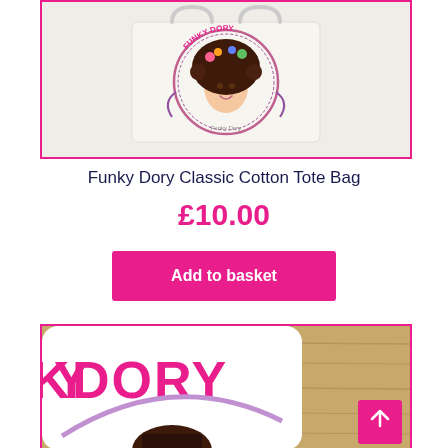[Figure (photo): Funky Dory Classic Cotton Tote Bag product photo — white tote bag with colorful Funky Dory character logo, shown against light background, pink border frame]
Funky Dory Classic Cotton Tote Bag
£10.00
Add to basket
[Figure (photo): Second product photo showing a white item with pink Funky Dory branding/logo on a wooden surface background, partially cropped at bottom of page]